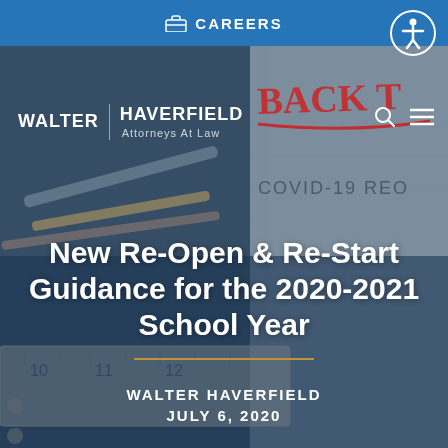CAREERS
[Figure (screenshot): Walter Haverfield law firm website screenshot showing a background photo of pencils and a ruler on a desk overlaid with blue tint, featuring a 'Back To' handwritten note and 'COVID-19 REO' text visible on a notepad]
New Re-Open & Re-Start Guidance for the 2020-2021 School Year
WALTER HAVERFIELD
JULY 6, 2020